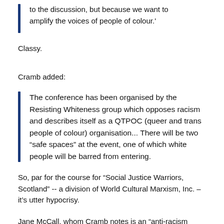to the discussion, but because we want to amplify the voices of people of colour.'
Classy.
Cramb added:
The conference has been organised by the Resisting Whiteness group which opposes racism and describes itself as a QTPOC (queer and trans people of colour) organisation... There will be two “safe spaces” at the event, one of which white people will be barred from entering.
So, par for the course for “Social Justice Warriors, Scotland” -- a division of World Cultural Marxism, Inc. – it’s utter hypocrisy.
Jane McCall, whom Cramb notes is an “anti-racism crusader,” said the event was “blatantly racist,” adding: